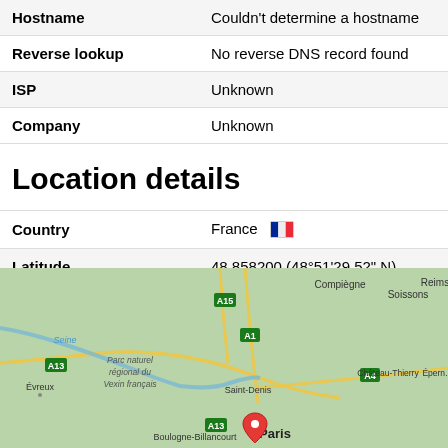| Hostname | Couldn't determine a hostname |
| Reverse lookup | No reverse DNS record found |
| ISP | Unknown |
| Company | Unknown |
Location details
| Country | France 🇫🇷 |
| Latitude | 48.858200 (48°51'29.52" N) |
| Longitude | 2.338700 (2°20'19.32" E) |
[Figure (map): Google Maps view centered on Paris, France showing surrounding region including Compiègne, Soissons, Reims, Château-Thierry, Évreux, Boulogne-Billancourt, Saint-Denis, with a red map pin on Paris. Roads A13, A15, A1, A4 visible. Parc naturel régional du Vexin français labeled. Seine river visible.]